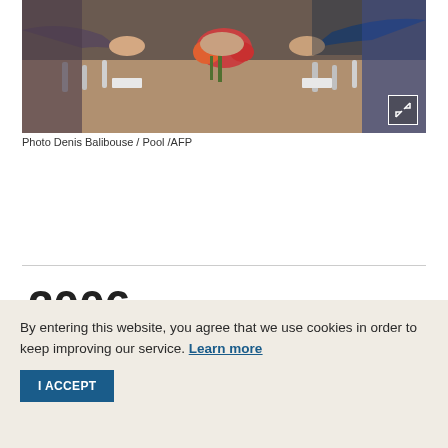[Figure (photo): Two people shaking hands across a conference table with flowers, silverware, and name cards visible. Photo taken at a formal diplomatic or business meeting setting.]
Photo Denis Balibouse / Pool /AFP
2006
By entering this website, you agree that we use cookies in order to keep improving our service. Learn more
I ACCEPT